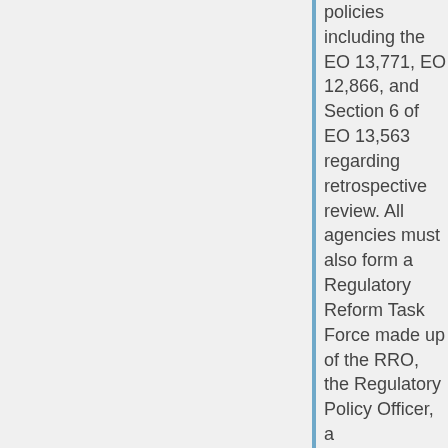policies including the EO 13,771, EO 12,866, and Section 6 of EO 13,563 regarding retrospective review. All agencies must also form a Regulatory Reform Task Force made up of the RRO, the Regulatory Policy Officer, a representative from the central policy office, and three senior agency